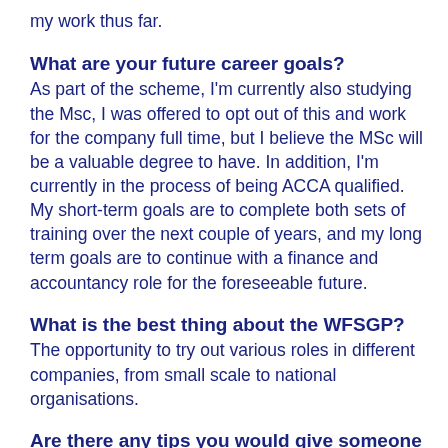my work thus far.
What are your future career goals?
As part of the scheme, I'm currently also studying the Msc, I was offered to opt out of this and work for the company full time, but I believe the MSc will be a valuable degree to have. In addition, I'm currently in the process of being ACCA qualified. My short-term goals are to complete both sets of training over the next couple of years, and my long term goals are to continue with a finance and accountancy role for the foreseeable future.
What is the best thing about the WFSGP?
The opportunity to try out various roles in different companies, from small scale to national organisations.
Are there any tips you would give someone who was thinking about applying for the